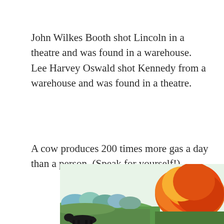John Wilkes Booth shot Lincoln in a theatre and was found in a warehouse. Lee Harvey Oswald shot Kennedy from a warehouse and was found in a theatre.
A cow produces 200 times more gas a day than a person. (Speak for yourself!)
[Figure (illustration): Partial illustration showing a colorful landscape with green fields, trees, and orange/red fire or explosion on the right side, with a dark animal (cow) visible at the bottom left.]